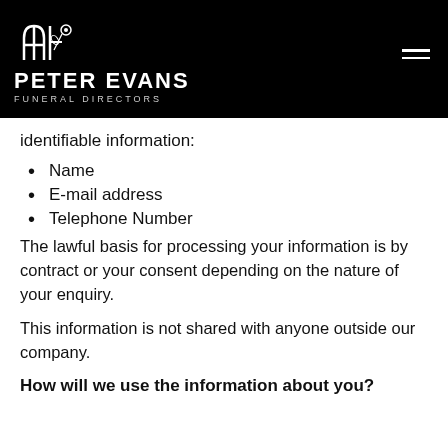PETER EVANS FUNERAL DIRECTORS
identifiable information:
Name
E-mail address
Telephone Number
The lawful basis for processing your information is by contract or your consent depending on the nature of your enquiry.
This information is not shared with anyone outside our company.
How will we use the information about you?